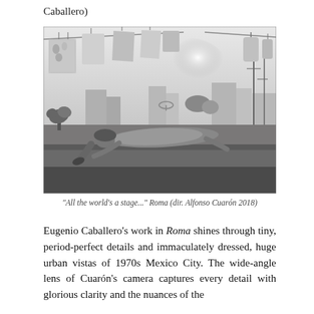Caballero)
[Figure (photo): Black and white photograph from the film Roma (2018, dir. Alfonso Cuarón). A woman lies on her back on a concrete rooftop ledge or platform, wearing a patterned dress. Laundry hangs on a clothesline above her. Urban rooftops, buildings, and utility poles are visible in the background. Stark, cinematic composition.]
"All the world's a stage..." Roma (dir. Alfonso Cuarón 2018)
Eugenio Caballero's work in Roma shines through tiny, period-perfect details and immaculately dressed, huge urban vistas of 1970s Mexico City. The wide-angle lens of Cuarón's camera captures every detail with glorious clarity and the nuances of the